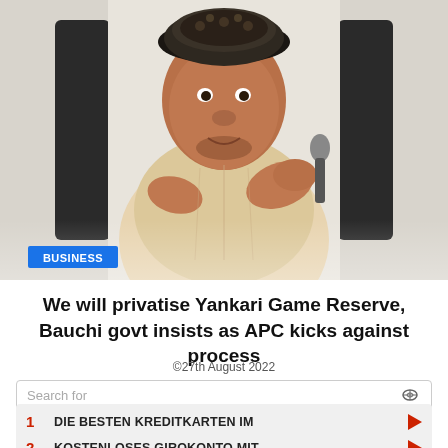[Figure (photo): A man wearing a traditional Nigerian attire and patterned cap speaking into a microphone. A 'BUSINESS' category tag is overlaid at the bottom-left of the image.]
We will privatise Yankari Game Reserve, Bauchi govt insists as APC kicks against process
©27th August 2022
Search for
1  DIE BESTEN KREDITKARTEN IM
2  KOSTENLOSES GIROKONTO MIT